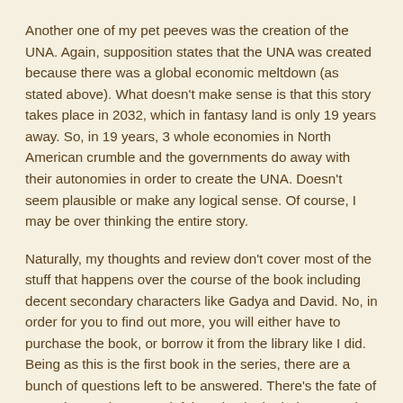Another one of my pet peeves was the creation of the UNA. Again, supposition states that the UNA was created because there was a global economic meltdown (as stated above). What doesn't make sense is that this story takes place in 2032, which in fantasy land is only 19 years away. So, in 19 years, 3 whole economies in North American crumble and the governments do away with their autonomies in order to create the UNA. Doesn't seem plausible or make any logical sense. Of course, I may be over thinking the entire story.
Naturally, my thoughts and review don't cover most of the stuff that happens over the course of the book including decent secondary characters like Gadya and David. No, in order for you to find out more, you will either have to purchase the book, or borrow it from the library like I did. Being as this is the first book in the series, there are a bunch of questions left to be answered. There's the fate of more than 5 characters left hanging in the balance as the book switches its focus entirely to Alenna and Liam's fate. I'm actually eager to see where the author takes the series from here.